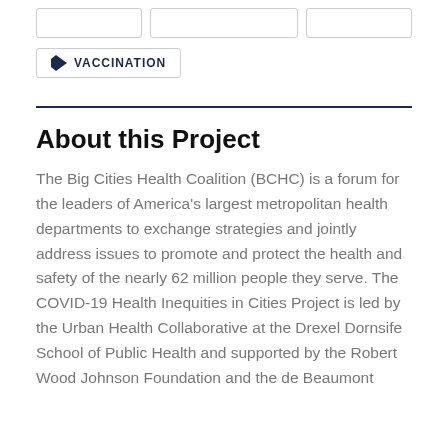VACCINATION
About this Project
The Big Cities Health Coalition (BCHC) is a forum for the leaders of America's largest metropolitan health departments to exchange strategies and jointly address issues to promote and protect the health and safety of the nearly 62 million people they serve. The COVID-19 Health Inequities in Cities Project is led by the Urban Health Collaborative at the Drexel Dornsife School of Public Health and supported by the Robert Wood Johnson Foundation and the de Beaumont